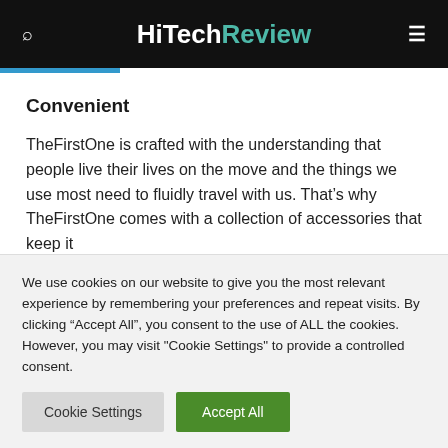HiTechReview
Convenient
TheFirstOne is crafted with the understanding that people live their lives on the move and the things we use most need to fluidly travel with us. That's why TheFirstOne comes with a collection of accessories that keep it
We use cookies on our website to give you the most relevant experience by remembering your preferences and repeat visits. By clicking "Accept All", you consent to the use of ALL the cookies. However, you may visit "Cookie Settings" to provide a controlled consent.